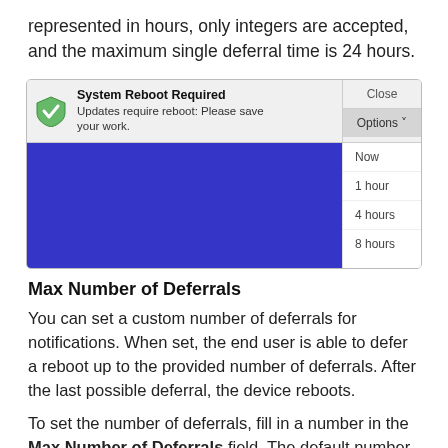represented in hours, only integers are accepted, and the maximum single deferral time is 24 hours.
[Figure (screenshot): System Reboot Required notification popup showing 'Updates require reboot: Please save your work.' with Close and Options buttons, and a dropdown menu showing options: Now, 1 hour, 4 hours, 8 hours. Blue background behind the notification.]
Max Number of Deferrals
You can set a custom number of deferrals for notifications. When set, the end user is able to defer a reboot up to the provided number of deferrals. After the last possible deferral, the device reboots.
To set the number of deferrals, fill in a number in the Max Number of Deferrals field. The default number of deferrals